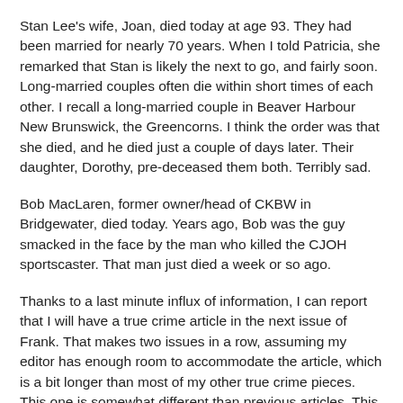Stan Lee's wife, Joan, died today at age 93. They had been married for nearly 70 years. When I told Patricia, she remarked that Stan is likely the next to go, and fairly soon. Long-married couples often die within short times of each other. I recall a long-married couple in Beaver Harbour New Brunswick, the Greencorns. I think the order was that she died, and he died just a couple of days later. Their daughter, Dorothy, pre-deceased them both. Terribly sad.
Bob MacLaren, former owner/head of CKBW in Bridgewater, died today. Years ago, Bob was the guy smacked in the face by the man who killed the CJOH sportscaster. That man just died a week or so ago.
Thanks to a last minute influx of information, I can report that I will have a true crime article in the next issue of Frank. That makes two issues in a row, assuming my editor has enough room to accommodate the article, which is a bit longer than most of my other true crime pieces. This one is somewhat different than previous articles. This one posits a theory that would have been nearly unheard of in Nova Scotia in the